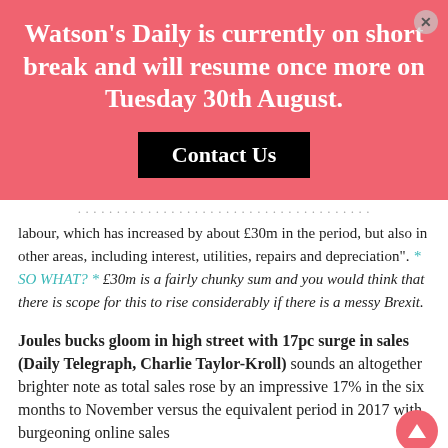Watson's Daily is currently on short break and will resume once more on Tuesday 30th August.
Contact Us
labour, which has increased by about £30m in the period, but also in other areas, including interest, utilities, repairs and depreciation". * SO WHAT? * £30m is a fairly chunky sum and you would think that there is scope for this to rise considerably if there is a messy Brexit.
Joules bucks gloom in high street with 17pc surge in sales (Daily Telegraph, Charlie Taylor-Kroll)
sounds an altogether brighter note as total sales rose by an impressive 17% in the six months to November versus the equivalent period in 2017 with burgeoning online sales